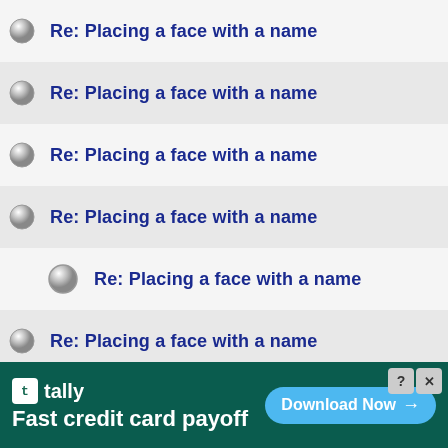Re: Placing a face with a name
Re: Placing a face with a name
Re: Placing a face with a name
Re: Placing a face with a name
Re: Placing a face with a name
Re: Placing a face with a name
Re: Placing a face with a name
Re: Placing a face with a name
Re: Placing a face with a name
Re: Placing a face with a name
Re: Placing a face with a name
Re: Placing a face with a name
Re: Placing a face with a name
[Figure (screenshot): Tally app advertisement banner — 'Fast credit card payoff' with Download Now button]